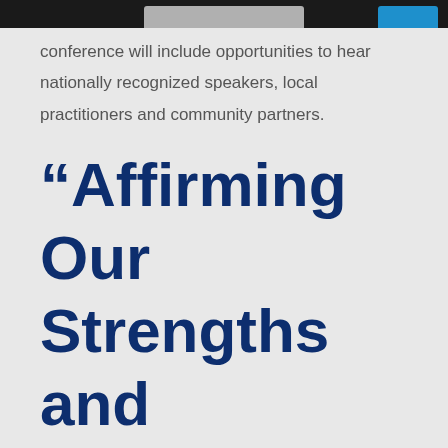conference will include opportunities to hear nationally recognized speakers, local practitioners and community partners.
“Affirming Our Strengths and Resiliency through